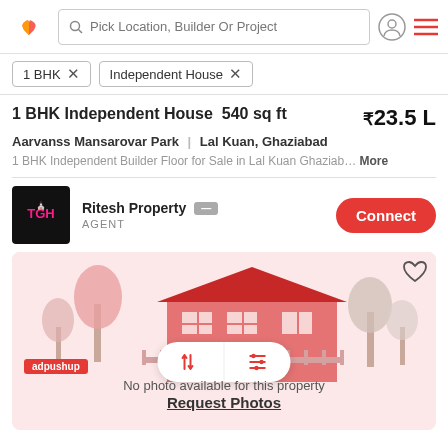Pick Location, Builder Or Project
1 BHK ×
Independent House ×
1 BHK Independent House 540 sq ft   ₹23.5 L
Aarvanss Mansarovar Park | Lal Kuan, Ghaziabad
1 BHK Independent Builder Floor for Sale in Lal Kuan Ghaziab… More
Ritesh Property — AGENT
Connect
[Figure (illustration): House illustration with trees in a pinkish-red color scheme; sort and filter buttons overlaid; adpushup badge; No photo available for this property; Request Photos link]
No photo available for this property
Request Photos